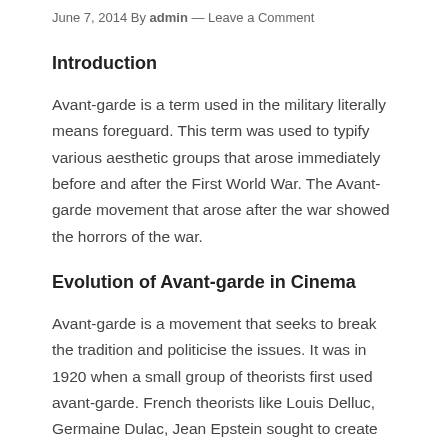June 7, 2014 By admin — Leave a Comment
Introduction
Avant-garde is a term used in the military literally means foreguard. This term was used to typify various aesthetic groups that arose immediately before and after the First World War. The Avant-garde movement that arose after the war showed the horrors of the war.
Evolution of Avant-garde in Cinema
Avant-garde is a movement that seeks to break the tradition and politicise the issues. It was in 1920 when a small group of theorists first used avant-garde. French theorists like Louis Delluc, Germaine Dulac, Jean Epstein sought to create avant-garde cinema. The members pointed out that the theoretical approach to cinema